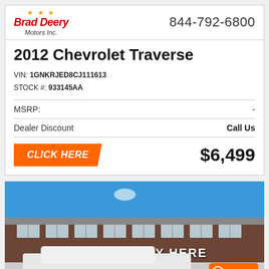[Figure (logo): Brad Deery Motors Inc. dealership logo with red italic text and stars]
844-792-6800
2012 Chevrolet Traverse
VIN: 1GNKRJED8CJ111613
STOCK #: 933145AA
MSRP: -
Dealer Discount  Call Us
CLICK HERE  $6,499
[Figure (photo): Photo of dealership building with BUY HERE-PAY HERE sign and white Traverse SUV in front]